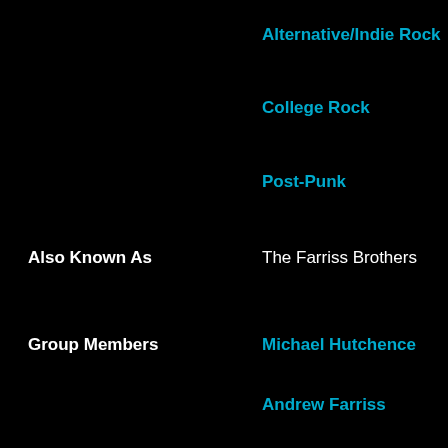Alternative/Indie Rock
College Rock
Post-Punk
Also Known As
The Farriss Brothers
Group Members
Michael Hutchence
Andrew Farriss
Jon Farriss
Tim Farriss
Garry Beers
Kirk Pengilly
J.D. Fortune
Ciaran Gribbin
Jon Stevens